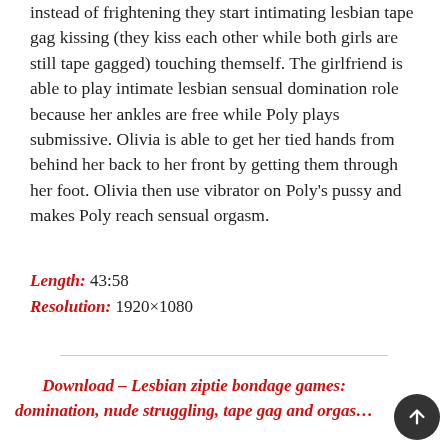instead of frightening they start intimating lesbian tape gag kissing (they kiss each other while both girls are still tape gagged) touching themself. The girlfriend is able to play intimate lesbian sensual domination role because her ankles are free while Poly plays submissive. Olivia is able to get her tied hands from behind her back to her front by getting them through her foot. Olivia then use vibrator on Poly's pussy and makes Poly reach sensual orgasm.
Length: 43:58
Resolution: 1920×1080
Download – Lesbian ziptie bondage games: domination, nude struggling, tape gag and orgas...